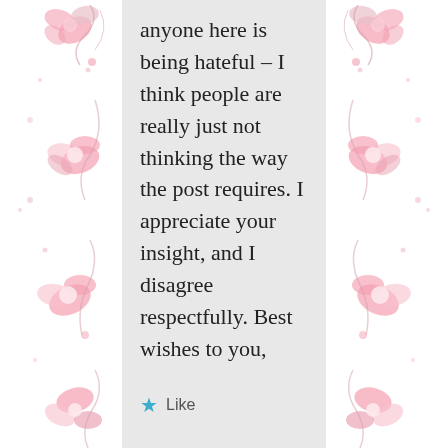[Figure (illustration): Decorative floral border panels on left and right sides with pink flowers and swirling designs on white background]
anyone here is being hateful – I think people are really just not thinking the way the post requires. I appreciate your insight, and I disagree respectfully. Best wishes to you,
★ Like